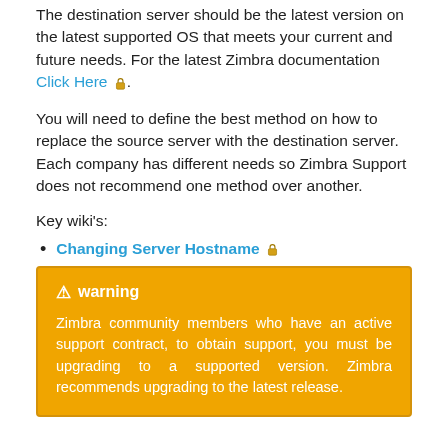The destination server should be the latest version on the latest supported OS that meets your current and future needs. For the latest Zimbra documentation Click Here 🔒.
You will need to define the best method on how to replace the source server with the destination server. Each company has different needs so Zimbra Support does not recommend one method over another.
Key wiki's:
Changing Server Hostname 🔒
⚠ warning
Zimbra community members who have an active support contract, to obtain support, you must be upgrading to a supported version. Zimbra recommends upgrading to the latest release.